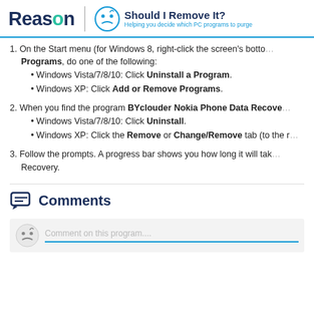Reason | Should I Remove It? Helping you decide which PC programs to purge
1. On the Start menu (for Windows 8, right-click the screen's bottom-left corner), click Control Panel, and then, under Programs, do one of the following:
• Windows Vista/7/8/10: Click Uninstall a Program.
• Windows XP: Click Add or Remove Programs.
2. When you find the program BYclouder Nokia Phone Data Recovery, click it, and then do one of the following:
• Windows Vista/7/8/10: Click Uninstall.
• Windows XP: Click the Remove or Change/Remove tab (to the right of the program).
3. Follow the prompts. A progress bar shows you how long it will take to remove BYclouder Nokia Phone Data Recovery.
Comments